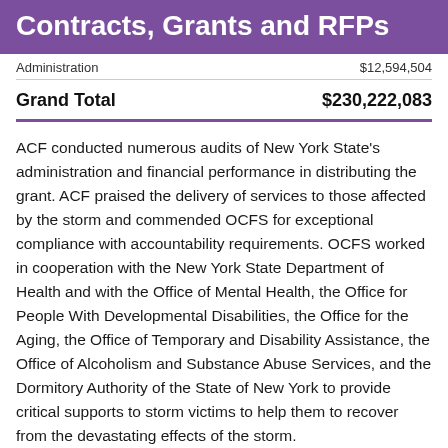Contracts, Grants and RFPs
|  |  |
| --- | --- |
| Administration | $12,594,504 |
| Grand Total | $230,222,083 |
ACF conducted numerous audits of New York State’s administration and financial performance in distributing the grant. ACF praised the delivery of services to those affected by the storm and commended OCFS for exceptional compliance with accountability requirements. OCFS worked in cooperation with the New York State Department of Health and with the Office of Mental Health, the Office for People With Developmental Disabilities, the Office for the Aging, the Office of Temporary and Disability Assistance, the Office of Alcoholism and Substance Abuse Services, and the Dormitory Authority of the State of New York to provide critical supports to storm victims to help them to recover from the devastating effects of the storm.